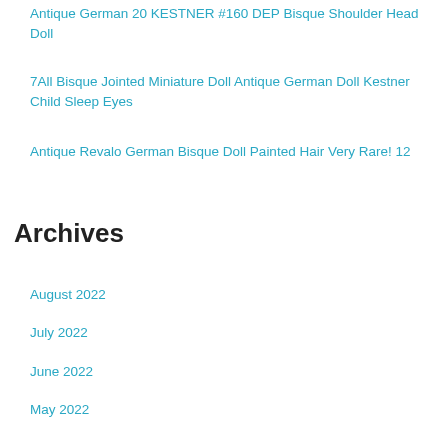Antique German 20 KESTNER #160 DEP Bisque Shoulder Head Doll
7All Bisque Jointed Miniature Doll Antique German Doll Kestner Child Sleep Eyes
Antique Revalo German Bisque Doll Painted Hair Very Rare! 12
Archives
August 2022
July 2022
June 2022
May 2022